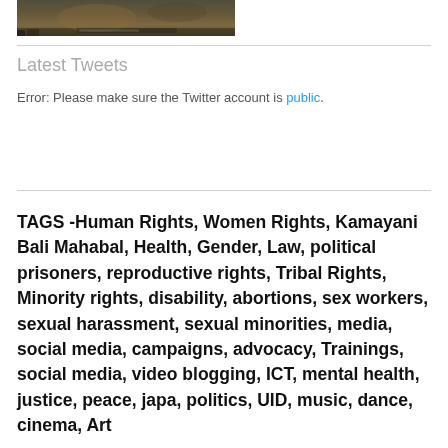[Figure (photo): Partial photo visible at top of page showing an outdoor scene with brown/earthy tones, possibly a lion or animal in a natural setting]
Latest Tweets
Error: Please make sure the Twitter account is public.
TAGS -Human Rights, Women Rights, Kamayani Bali Mahabal, Health, Gender, Law, political prisoners, reproductive rights, Tribal Rights, Minority rights, disability, abortions, sex workers, sexual harassment, sexual minorities, media, social media, campaigns, advocacy, Trainings, social media, video blogging, ICT, mental health, justice, peace, japa, politics, UID, music, dance, cinema, Art